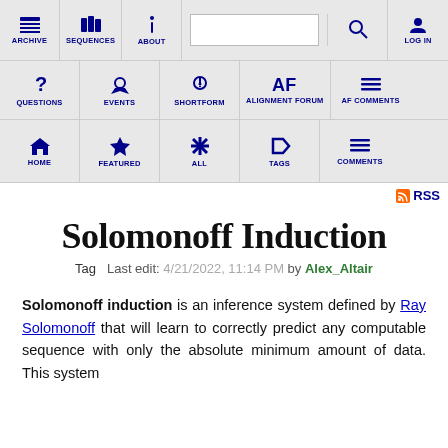[Figure (screenshot): Website navigation bar row 1 with ARCHIVE, SEQUENCES, ABOUT, search box, search icon, LOG IN]
[Figure (screenshot): Website navigation bar row 2 with QUESTIONS, EVENTS, SHORTFORM, ALIGNMENT FORUM, AF COMMENTS]
[Figure (screenshot): Website navigation bar row 3 with HOME, FEATURED, ALL, TAGS, COMMENTS]
RSS
Solomonoff Induction
Tag   Last edit: 4/21/2022, 11:14 PM by Alex_Altair
Solomonoff induction is an inference system defined by Ray Solomonoff that will learn to correctly predict any computable sequence with only the absolute minimum amount of data. This system